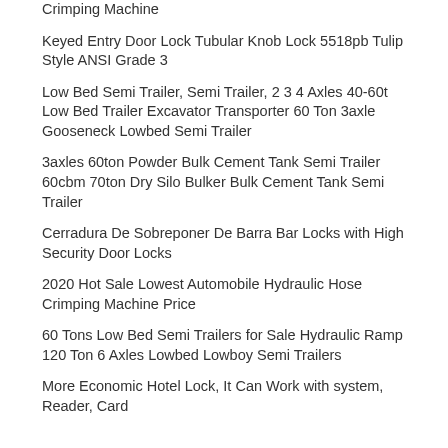Crimping Machine
Keyed Entry Door Lock Tubular Knob Lock 5518pb Tulip Style ANSI Grade 3
Low Bed Semi Trailer, Semi Trailer, 2 3 4 Axles 40-60t Low Bed Trailer Excavator Transporter 60 Ton 3axle Gooseneck Lowbed Semi Trailer
3axles 60ton Powder Bulk Cement Tank Semi Trailer 60cbm 70ton Dry Silo Bulker Bulk Cement Tank Semi Trailer
Cerradura De Sobreponer De Barra Bar Locks with High Security Door Locks
2020 Hot Sale Lowest Automobile Hydraulic Hose Crimping Machine Price
60 Tons Low Bed Semi Trailers for Sale Hydraulic Ramp 120 Ton 6 Axles Lowbed Lowboy Semi Trailers
More Economic Hotel Lock, It Can Work with system, Reader, Card